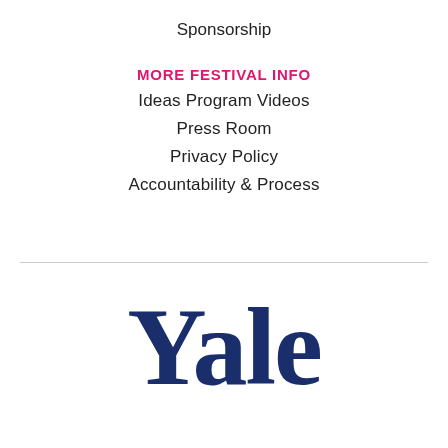Sponsorship
MORE FESTIVAL INFO
Ideas Program Videos
Press Room
Privacy Policy
Accountability & Process
[Figure (logo): Yale University logo — bold dark navy serif text reading 'Yale']